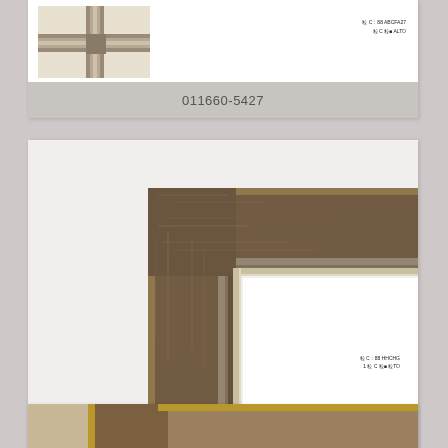[Figure (photo): Top portion of a product card showing a small frame corner sample image with specs text in upper right]
011660-5427
[Figure (photo): Product card showing a large corner of a dark brown/bronze picture frame with silver inner liner detail, photographed against white background. Small specs text in lower right area.]
011660-6667{311105-665}
[Figure (photo): Bottom partially visible product card showing dark brown frame sample]